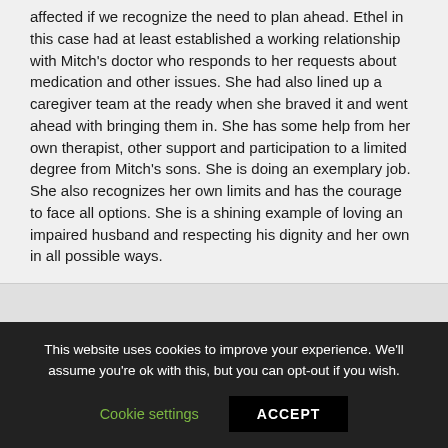affected if we recognize the need to plan ahead. Ethel in this case had at least established a working relationship with Mitch's doctor who responds to her requests about medication and other issues. She had also lined up a caregiver team at the ready when she braved it and went ahead with bringing them in. She has some help from her own therapist, other support and participation to a limited degree from Mitch's sons. She is doing an exemplary job. She also recognizes her own limits and has the courage to face all options. She is a shining example of loving an impaired husband and respecting his dignity and her own in all possible ways.
This website uses cookies to improve your experience. We'll assume you're ok with this, but you can opt-out if you wish.
Cookie settings | ACCEPT